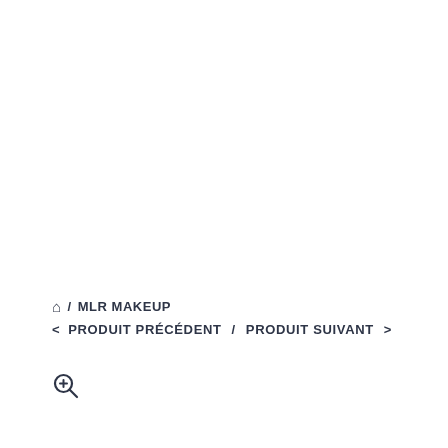⌂ / MLR MAKEUP
< PRODUIT PRÉCÉDENT / PRODUIT SUIVANT >
[Figure (other): Zoom/magnify icon (magnifying glass with plus sign)]